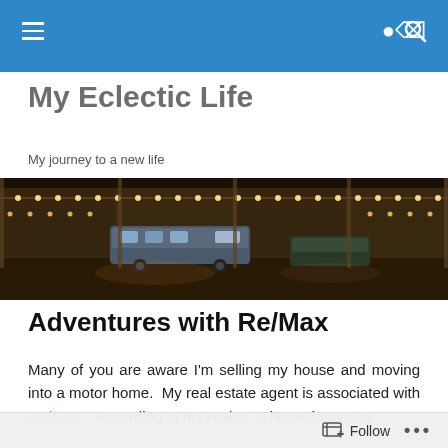My Eclectic Life — navigation bar
My Eclectic Life
My journey to a new life
[Figure (photo): Panoramic night photo of an RV/motorhome park with warm string lights decorating covered structures, vehicles parked in a lot.]
Adventures with Re/Max
Many of you are aware I'm selling my house and moving into a motor home.  My real estate agent is associated with Re/Max.   According to my realtor, a home inspector
Follow • •••